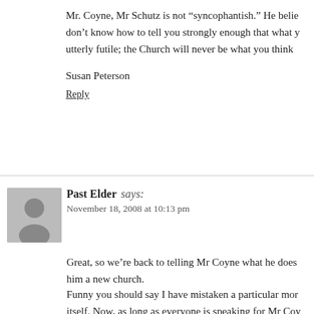Mr. Coyne, Mr Schutz is not “syncophantish.” He belie don’t know how to tell you strongly enough that what y utterly futile; the Church will never be what you think
Susan Peterson
Reply
Past Elder says:
November 18, 2008 at 10:13 pm
Great, so we’re back to telling Mr Coyne what he does him a new church.
Funny you should say I have mistaken a particular mor itself. Now, as long as everyone is speaking for Mr Coy guess is he would say the same about you — that the C which you want to think is neither Church as instituted